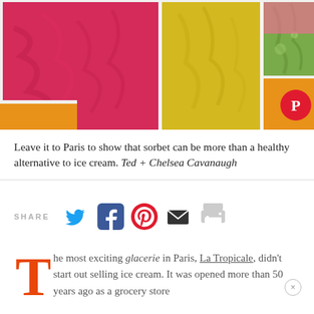[Figure (photo): Colorful sorbets in rectangular containers viewed from above — vivid pink/red (raspberry), yellow (lemon/pineapple), green (pistachio/matcha), and orange varieties in clear plastic tubs.]
Leave it to Paris to show that sorbet can be more than a healthy alternative to ice cream. Ted + Chelsea Cavanaugh
SHARE
The most exciting glacerie in Paris, La Tropicale, didn't start out selling ice cream. It was opened more than 50 years ago as a grocery store